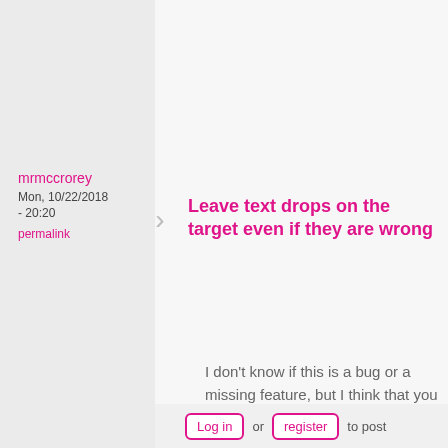mrmccrorey
Mon, 10/22/2018 - 20:20
permalink
Leave text drops on the target even if they are wrong
I don't know if this is a bug or a missing feature, but I think that you should leave the text in the drop-targets even if they are wrong.  This is currently not the behavior unless I'm missing something
Log in or register to post